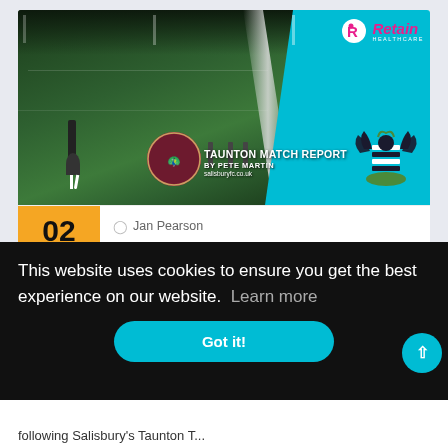[Figure (photo): Football match report card image for Taunton, showing a football pitch at night with players in background and a figure in foreground. Teal panel on right with Retain Healthcare sponsor logo and club crest. Date badge showing 02 FEB in amber/yellow. Text overlay: TAUNTON MATCH REPORT BY PETE MARTIN, salisburyfc.co.uk. Taunton FC peacock badge visible.]
Jan Pearson
This website uses cookies to ensure you get the best experience on our website.  Learn more
Got it!
following Salisbury's Taunton T...